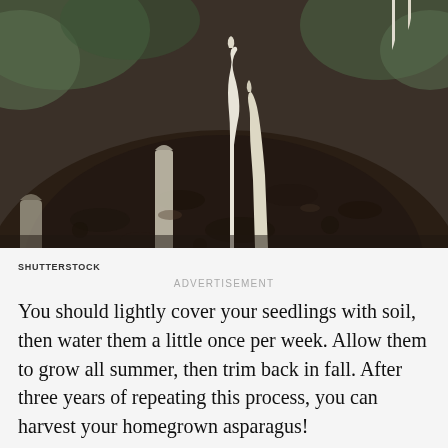[Figure (photo): Close-up photograph of white asparagus spears emerging from dark mounded soil, with blurred green foliage in the background. Credit: Shutterstock.]
SHUTTERSTOCK
ADVERTISEMENT
You should lightly cover your seedlings with soil, then water them a little once per week. Allow them to grow all summer, then trim back in fall. After three years of repeating this process, you can harvest your homegrown asparagus!